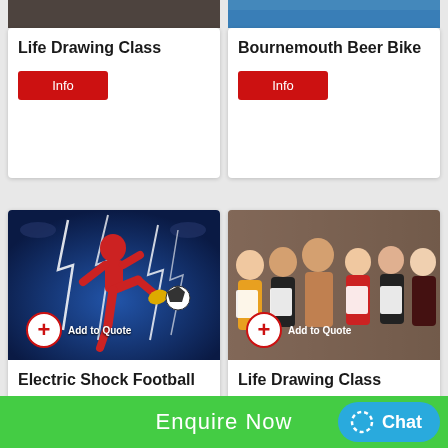[Figure (photo): Cropped top portion of life drawing class photo]
Life Drawing Class
Info
[Figure (photo): Cropped top portion of Bournemouth Beer Bike photo]
Bournemouth Beer Bike
Info
[Figure (photo): Electric Shock Football – player kicking a ball with lightning effects in a stadium]
Electric Shock Football
Info
[Figure (photo): Life Drawing Class – group of women with a male model holding up sketches]
Life Drawing Class
Info
Enquire Now
Chat